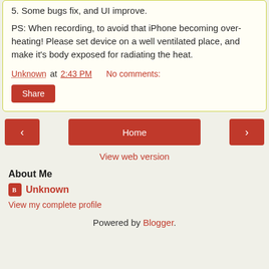5. Some bugs fix, and UI improve.
PS: When recording, to avoid that iPhone becoming over-heating! Please set device on a well ventilated place, and make it's body exposed for radiating the heat.
Unknown at 2:43 PM    No comments:
Share
Home
View web version
About Me
Unknown
View my complete profile
Powered by Blogger.